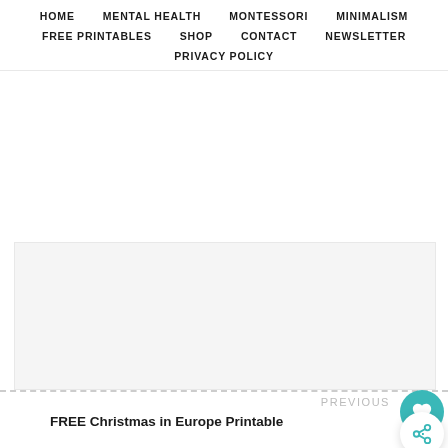HOME  MENTAL HEALTH  MONTESSORI  MINIMALISM  FREE PRINTABLES  SHOP  CONTACT  NEWSLETTER  PRIVACY POLICY
[Figure (other): Large blank/white content area placeholder]
PREVIOUS
FREE Christmas in Europe Printable